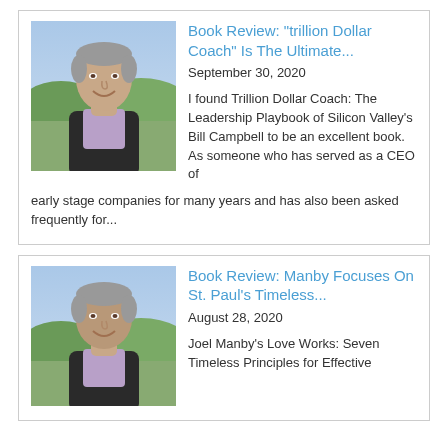[Figure (photo): Portrait photo of a middle-aged man with gray hair, smiling, wearing a dark suit and light purple shirt, with green outdoor background]
Book Review: "trillion Dollar Coach" Is The Ultimate...
September 30, 2020
I found Trillion Dollar Coach: The Leadership Playbook of Silicon Valley's Bill Campbell to be an excellent book. As someone who has served as a CEO of early stage companies for many years and has also been asked frequently for...
[Figure (photo): Portrait photo of a middle-aged man with gray hair, smiling, wearing a dark suit and light purple shirt, with green outdoor background]
Book Review: Manby Focuses On St. Paul's Timeless...
August 28, 2020
Joel Manby's Love Works: Seven Timeless Principles for Effective